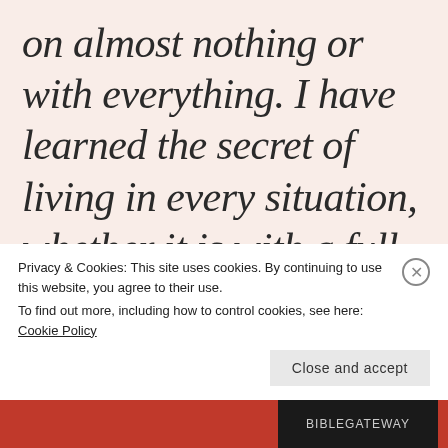on almost nothing or with everything. I have learned the secret of living in every situation, whether it is with a full stomach or empty, with plenty or little. For I can do
Privacy & Cookies: This site uses cookies. By continuing to use this website, you agree to their use.
To find out more, including how to control cookies, see here: Cookie Policy
Close and accept